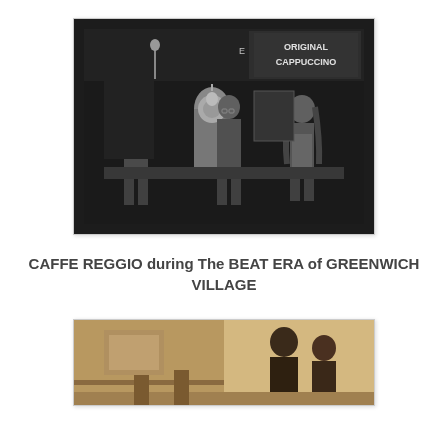[Figure (photo): Black and white photograph of Caffe Reggio storefront during the Beat Era of Greenwich Village. Three people stand in front of the cafe. A sign reads 'Original Cappuccino'. A large ornate espresso machine is visible inside.]
CAFFE REGGIO during The BEAT ERA of GREENWICH VILLAGE
[Figure (photo): Sepia-toned photograph showing the interior of Caffe Reggio with patrons, partially cropped at the bottom of the page.]